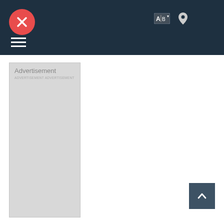[Figure (screenshot): Website header bar with dark navy background, red circular logo with X icon on the left, translation/language icon and map pin icon on the right side, and a hamburger menu icon at the bottom left]
[Figure (other): Advertisement placeholder box with light gray background and 'Advertisement' label text]
[Figure (other): Dark teal back-to-top arrow button in the bottom right corner]